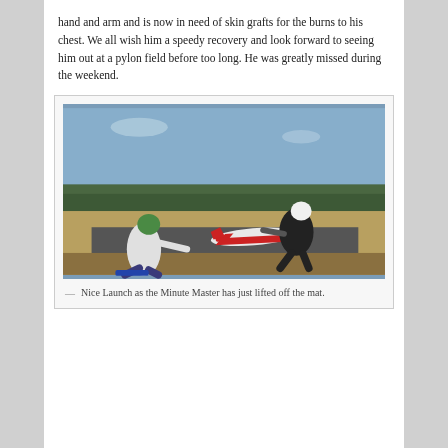hand and arm and is now in need of skin grafts for the burns to his chest. We all wish him a speedy recovery and look forward to seeing him out at a pylon field before too long. He was greatly missed during the weekend.
[Figure (photo): Two people on a runway launching a red and white model RC airplane (Minute Master). One person wearing a green helmet is crouched low on the left, the other wearing a white cap is holding the plane on the right. Trees and blue sky in the background.]
— Nice Launch as the Minute Master has just lifted off the mat.